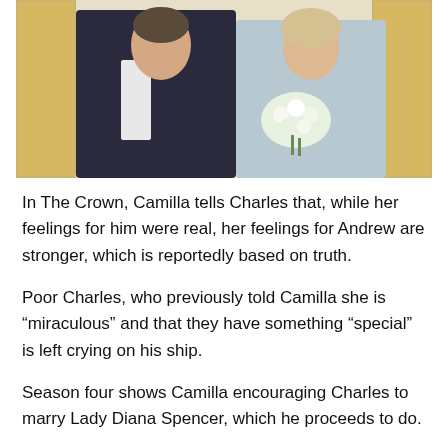[Figure (photo): A couple posed formally — man in dark suit and woman in light blue outfit holding white flowers, in front of ornate gold-framed decor.]
In The Crown, Camilla tells Charles that, while her feelings for him were real, her feelings for Andrew are stronger, which is reportedly based on truth.
Poor Charles, who previously told Camilla she is “mirraculous” and that they have something “special” is left crying on his ship.
Season four shows Camilla encouraging Charles to marry Lady Diana Spencer, which he proceeds to do.
Source: Read Full Article